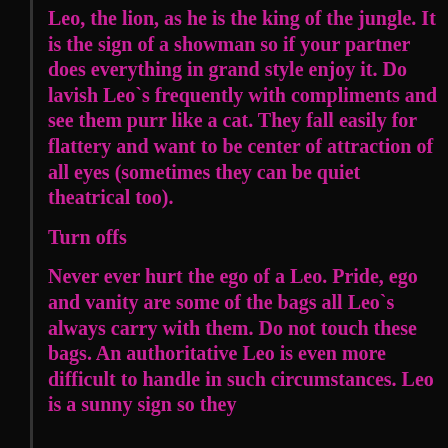Leo, the lion, as he is the king of the jungle. It is the sign of a showman so if your partner does everything in grand style enjoy it. Do lavish Leo`s frequently with compliments and see them purr like a cat. They fall easily for flattery and want to be center of attraction of all eyes (sometimes they can be quiet theatrical too).
Turn offs
Never ever hurt the ego of a Leo. Pride, ego and vanity are some of the bags all Leo`s always carry with them. Do not touch these bags. An authoritative Leo is even more difficult to handle in such circumstances. Leo is a sunny sign so they